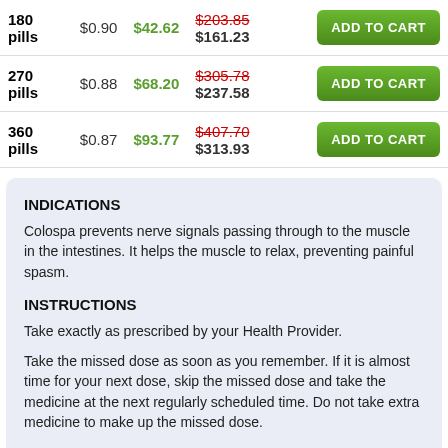| Quantity | Per Pill | Savings | Price |  |
| --- | --- | --- | --- | --- |
| 180 pills | $0.90 | $42.62 | $203.85 $161.23 | ADD TO CART |
| 270 pills | $0.88 | $68.20 | $305.78 $237.58 | ADD TO CART |
| 360 pills | $0.87 | $93.77 | $407.70 $313.93 | ADD TO CART |
INDICATIONS
Colospa prevents nerve signals passing through to the muscle in the intestines. It helps the muscle to relax, preventing painful spasm.
INSTRUCTIONS
Take exactly as prescribed by your Health Provider.
Take the missed dose as soon as you remember. If it is almost time for your next dose, skip the missed dose and take the medicine at the next regularly scheduled time. Do not take extra medicine to make up the missed dose.
DOSAGE
You should take 135 mg Colospa hydrochloride (1 tablet) 3 times a day, before meals. After a few weeks of treatment when the health giving effect...